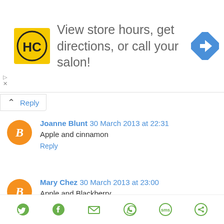[Figure (screenshot): Advertisement banner with HC logo, text 'View store hours, get directions, or call your salon!' and a blue navigation icon]
Reply
Joanne Blunt  30 March 2013 at 22:31
Apple and cinnamon
Reply
Mary Chez  30 March 2013 at 23:00
Apple and Blackberry
Reply
[Figure (screenshot): Partial third comment with orange Blogger avatar and truncated blue text]
[Figure (screenshot): Social sharing bar with icons: Twitter, Facebook, Email, WhatsApp, SMS, and another share icon]